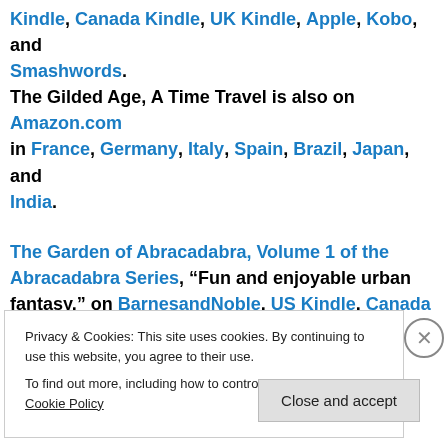Kindle, Canada Kindle, UK Kindle, Apple, Kobo, and Smashwords. The Gilded Age, A Time Travel is also on Amazon.com in France, Germany, Italy, Spain, Brazil, Japan, and India.
The Garden of Abracadabra, Volume 1 of the Abracadabra Series, "Fun and enjoyable urban fantasy," on BarnesandNoble, US Kindle, Canada Kindle, UK Kindle, Apple, Kobo, and Smashwords. The Garden of Abracadabra, Volume 1 of the
Privacy & Cookies: This site uses cookies. By continuing to use this website, you agree to their use.
To find out more, including how to control cookies, see here: Cookie Policy
Close and accept